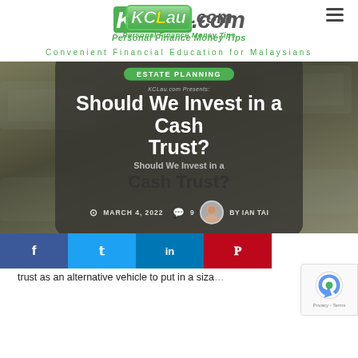[Figure (logo): KCLau.com logo with tagline 'Personal Finance Money Tips']
Convenient Financial Education for Malaysians
[Figure (photo): Hero image with dark card overlay showing article title 'Should We Invest in a Cash Trust?', estate planning badge, date March 4, 2022, 9 comments, by Ian Tai]
Presently, I no... larity of c... trust as an alternative vehicle to put in a siza...